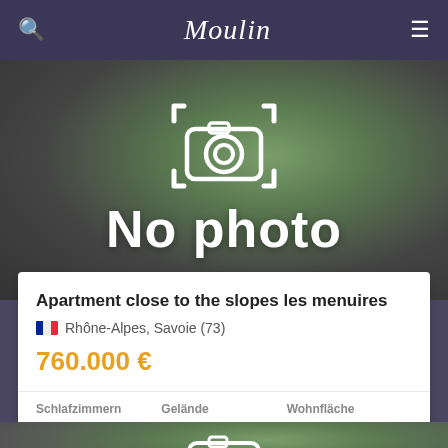Moulin
[Figure (screenshot): No photo placeholder image with blurred green/dark background, white camera icon, and bold white 'No photo' text]
Apartment close to the slopes les menuires
Rhône-Alpes, Savoie (73)
760.000 €
| Schlafzimmern | Gelände | Wohnfläche |
| --- | --- | --- |
| 6 |  | 112 m² |
[Figure (screenshot): Partial 'No photo' placeholder image at bottom of page with blurred green/dark background and partial white camera icon]